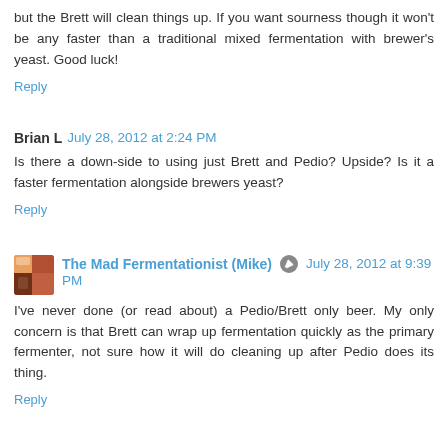but the Brett will clean things up. If you want sourness though it won't be any faster than a traditional mixed fermentation with brewer's yeast. Good luck!
Reply
Brian L  July 28, 2012 at 2:24 PM
Is there a down-side to using just Brett and Pedio? Upside? Is it a faster fermentation alongside brewers yeast?
Reply
The Mad Fermentationist (Mike)  July 28, 2012 at 9:39 PM
I've never done (or read about) a Pedio/Brett only beer. My only concern is that Brett can wrap up fermentation quickly as the primary fermenter, not sure how it will do cleaning up after Pedio does its thing.
Reply